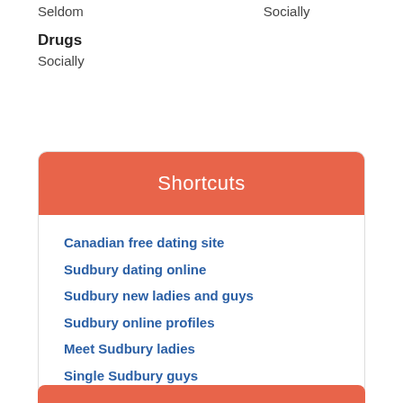Seldom
Socially
Drugs
Socially
Shortcuts
Canadian free dating site
Sudbury dating online
Sudbury new ladies and guys
Sudbury online profiles
Meet Sudbury ladies
Single Sudbury guys